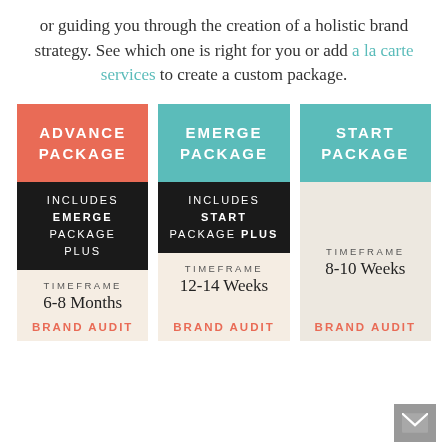or guiding you through the creation of a holistic brand strategy. See which one is right for you or add a la carte services to create a custom package.
[Figure (infographic): Three service package cards side by side: Advance Package (salmon/coral header, includes Emerge Package Plus, Timeframe 6-8 Months, Brand Audit), Emerge Package (teal header, includes Start Package Plus, Timeframe 12-14 Weeks, Brand Audit), Start Package (teal header, beige body, Timeframe 8-10 Weeks, Brand Audit)]